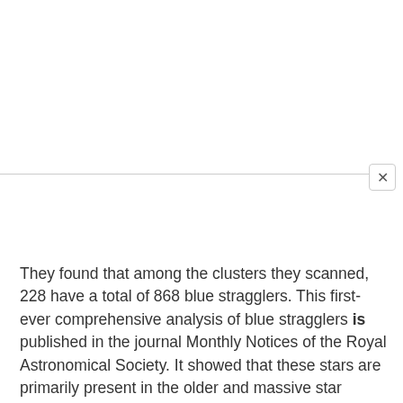They found that among the clusters they scanned, 228 have a total of 868 blue stragglers. This first-ever comprehensive analysis of blue stragglers is published in the journal Monthly Notices of the Royal Astronomical Society. It showed that these stars are primarily present in the older and massive star clusters. And due to their large mass, they are segregated towards the centre of the clusters. The researchers compared